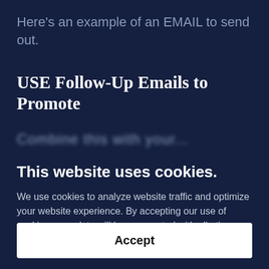Here's an example of an EMAIL to send out.
USE Follow-Up Emails to Promote
Combine this with your...
This website uses cookies.
We use cookies to analyze website traffic and optimize your website experience. By accepting our use of cookies, your data will be aggregated with all other user data.
Accept